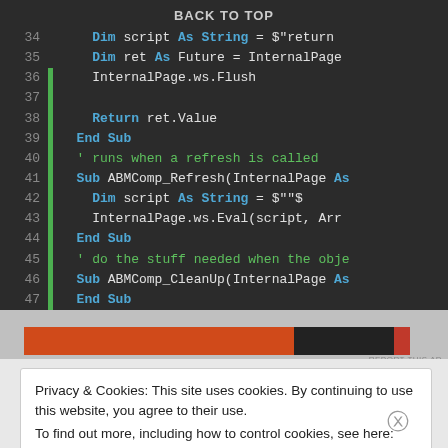[Figure (screenshot): Code editor screenshot showing Visual Basic code lines 34-47 with syntax highlighting. Keywords in blue/bold, comments in green, line numbers on left with green gutter bar.]
[Figure (infographic): Advertisement banner with orange, black and red sections, with REPORT THIS AD label]
Privacy & Cookies: This site uses cookies. By continuing to use this website, you agree to their use.
To find out more, including how to control cookies, see here: Cookie Policy
Close and accept